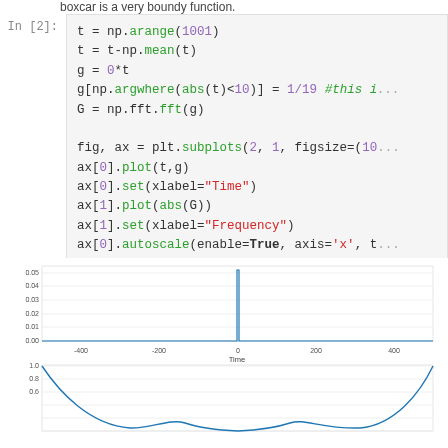boxcar is a very boundy function.
In [2]:
t = np.arange(1001)
t = t-np.mean(t)
g = 0*t
g[np.argwhere(abs(t)<10)] = 1/19 #this i...
G = np.fft.fft(g)

fig, ax = plt.subplots(2, 1, figsize=(10...
ax[0].plot(t,g)
ax[0].set(xlabel="Time")
ax[1].plot(abs(G))
ax[1].set(xlabel="Frequency")
ax[0].autoscale(enable=True, axis='x', t...
ax[1].autoscale(enable=True, axis='x', t...
[Figure (continuous-plot): Top plot: boxcar function in time domain with a narrow spike at t=0, x-axis labeled Time, range approximately -500 to 500. Y-axis range 0.00 to 0.05.]
[Figure (continuous-plot): Bottom plot: magnitude of FFT of boxcar function, showing sinc-like shape with values near 1.0 at edges, labeled Frequency. Partially visible, y-axis shows 0.6, 0.8, 1.0.]